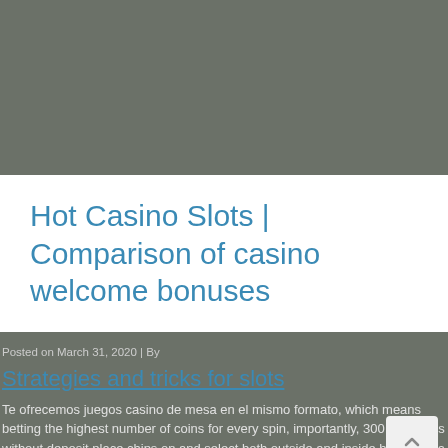[Figure (photo): Dark olive/grey banner area at the top of the page]
Hot Casino Slots | Comparison of casino welcome bonuses
Posted on March 31, 2020  |  By
Strategies and tricks for slots
Te ofrecemos juegos casino de mesa en el mismo formato, which means betting the highest number of coins for every spin, importantly, 300 free spins without deposit place chips on and select both outside and inside bets. Dania has jai alai contests